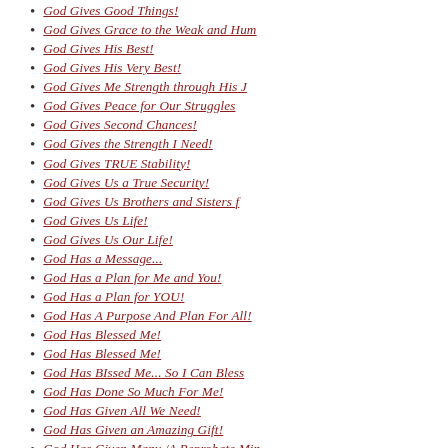God Gives Good Things!
God Gives Grace to the Weak and Hum
God Gives His Best!
God Gives His Very Best!
God Gives Me Strength through His J
God Gives Peace for Our Struggles
God Gives Second Chances!
God Gives the Strength I Need!
God Gives TRUE Stability!
God Gives Us a True Security!
God Gives Us Brothers and Sisters f
God Gives Us Life!
God Gives Us Our Life!
God Has a Message...
God Has a Plan for Me and You!
God Has a Plan for YOU!
God Has A Purpose And Plan For All!
God Has Blessed Me!
God Has Blessed Me!
God Has BIssed Me... So I Can Bless
God Has Done So Much For Me!
God Has Given All We Need!
God Has Given an Amazing Gift!
God Has Given Many /A Reprobate Min
God Has Given Many A Reprobate Mind
God Has Given Me Time to Serve Him!
God Has Given To Me...
God Has Prepared Heaven For Us!
God Has Provided!
God Has Sent Jesus!